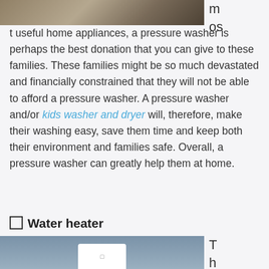[Figure (photo): Top portion of an outdoor scene showing what appears to be a pressure washer or garden equipment on a surface, with a green hose visible. Only the bottom portion of the image is visible. To the right of the image, partial text reads 'm os' (continuation of 'most' from previous page).]
most useful home appliances, a pressure washer is perhaps the best donation that you can give to these families. These families might be so much devastated and financially constrained that they will not be able to afford a pressure washer. A pressure washer and/or kids washer and dryer will, therefore, make their washing easy, save them time and keep both their environment and families safe. Overall, a pressure washer can greatly help them at home.
☐ Water heater
[Figure (photo): Bottom portion of an image showing a water heater unit mounted on a blue-gray wall with a white panel or door to the right side. The unit is white and rectangular. To the right of the image, partial text reads 'T h es e' (continuation of text from next section).]